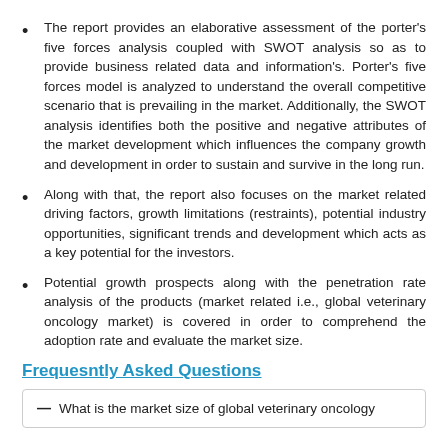The report provides an elaborative assessment of the porter's five forces analysis coupled with SWOT analysis so as to provide business related data and information's. Porter's five forces model is analyzed to understand the overall competitive scenario that is prevailing in the market. Additionally, the SWOT analysis identifies both the positive and negative attributes of the market development which influences the company growth and development in order to sustain and survive in the long run.
Along with that, the report also focuses on the market related driving factors, growth limitations (restraints), potential industry opportunities, significant trends and development which acts as a key potential for the investors.
Potential growth prospects along with the penetration rate analysis of the products (market related i.e., global veterinary oncology market) is covered in order to comprehend the adoption rate and evaluate the market size.
Frequesntly Asked Questions
What is the market size of global veterinary oncology